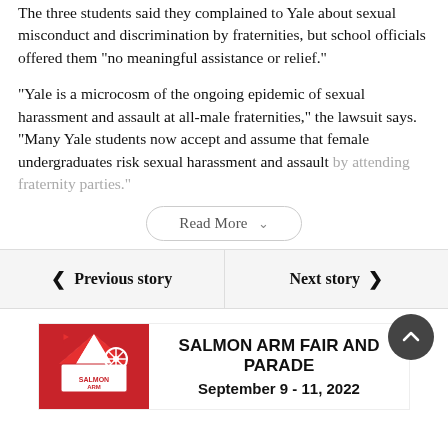The three students said they complained to Yale about sexual misconduct and discrimination by fraternities, but school officials offered them “no meaningful assistance or relief.”
“Yale is a microcosm of the ongoing epidemic of sexual harassment and assault at all-male fraternities,” the lawsuit says. “Many Yale students now accept and assume that female undergraduates risk sexual harassment and assault by attending fraternity parties.”
Read More
Previous story
Next story
[Figure (other): Advertisement for Salmon Arm Fair and Parade, September 9-11, 2022, with a red logo on the left and bold text on the right.]